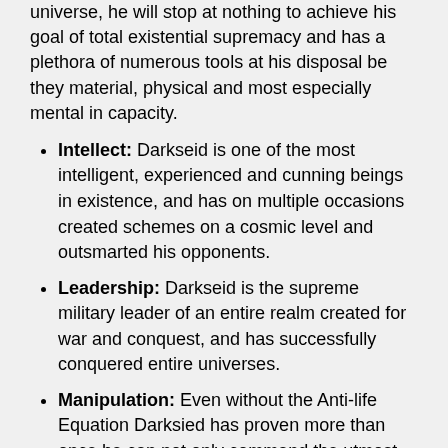universe, he will stop at nothing to achieve his goal of total existential supremacy and has a plethora of numerous tools at his disposal be they material, physical and most especially mental in capacity.
Intellect: Darkseid is one of the most intelligent, experienced and cunning beings in existence, and has on multiple occasions created schemes on a cosmic level and outsmarted his opponents.
Leadership: Darkseid is the supreme military leader of an entire realm created for war and conquest, and has successfully conquered entire universes.
Manipulation: Even without the Anti-life Equation Darksied has proven more than once he can not only command the utmost fear and respect amongst his underlings and peers but is a shrewd conniver capable of moving hundreds of not thousands of beings towards his own agenda's.